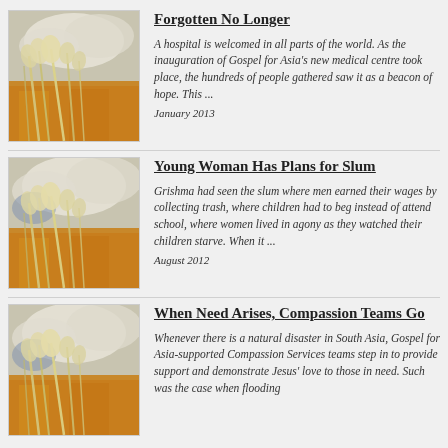[Figure (photo): Photograph of grasses/reeds in a field with orange and golden tones, cloudy sky in background]
Forgotten No Longer
A hospital is welcomed in all parts of the world. As the inauguration of Gospel for Asia's new medical centre took place, the hundreds of people gathered saw it as a beacon of hope. This ...
January 2013
[Figure (photo): Photograph of grasses/reeds in a field with orange and golden tones, cloudy sky in background]
Young Woman Has Plans for Slum
Grishma had seen the slum where men earned their wages by collecting trash, where children had to beg instead of attend school, where women lived in agony as they watched their children starve. When it ...
August 2012
[Figure (photo): Photograph of grasses/reeds in a field with orange and golden tones, cloudy sky in background]
When Need Arises, Compassion Teams Go
Whenever there is a natural disaster in South Asia, Gospel for Asia-supported Compassion Services teams step in to provide support and demonstrate Jesus' love to those in need. Such was the case when flooding